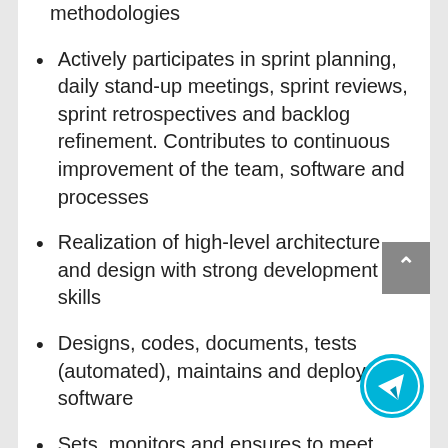methodologies
Actively participates in sprint planning, daily stand-up meetings, sprint reviews, sprint retrospectives and backlog refinement. Contributes to continuous improvement of the team, software and processes
Realization of high-level architecture and design with strong development skills
Designs, codes, documents, tests (automated), maintains and deploys software
Sets, monitors and ensures to meet own performance metrics
Defines, monitors and … and quality metrics